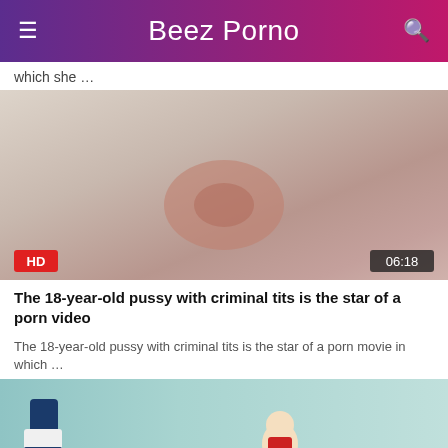Beez Porno
which she …
[Figure (photo): Close-up video thumbnail with HD badge and 06:18 duration indicator]
The 18-year-old pussy with criminal tits is the star of a porn video
The 18-year-old pussy with criminal tits is the star of a porn movie in which …
[Figure (photo): Video thumbnail showing two people]